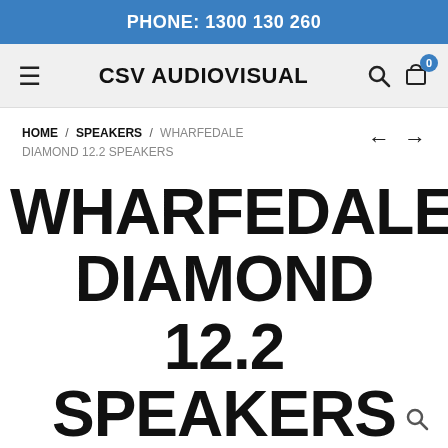PHONE: 1300 130 260
CSV AUDIOVISUAL
HOME / SPEAKERS / WHARFEDALE DIAMOND 12.2 SPEAKERS
WHARFEDALE DIAMOND 12.2 SPEAKERS
$795.00